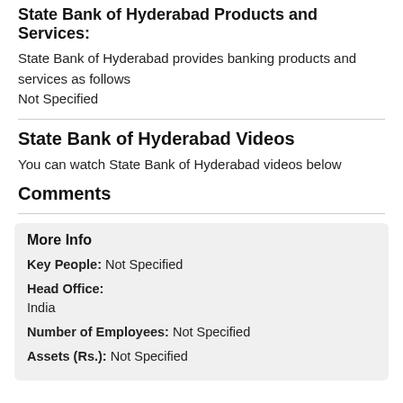State Bank of Hyderabad Products and Services:
State Bank of Hyderabad provides banking products and services as follows
Not Specified
State Bank of Hyderabad Videos
You can watch State Bank of Hyderabad videos below
Comments
| More Info |  |
| Key People: | Not Specified |
| Head Office: | India |
| Number of Employees: | Not Specified |
| Assets (Rs.): | Not Specified |